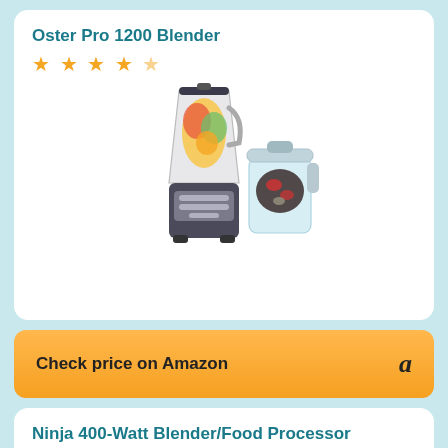Oster Pro 1200 Blender
★ ★ ★ ★ ½
[Figure (photo): Oster Pro 1200 Blender product photo showing blender with food processor attachment]
Check price on Amazon  a
Ninja 400-Watt Blender/Food Processor
★ ★ ★ ★ ½
[Figure (photo): Ninja 400-Watt Blender/Food Processor partial product photo]